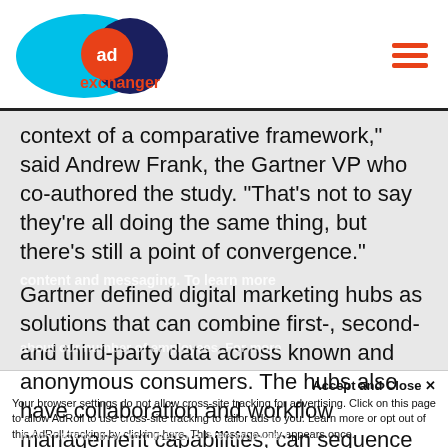[Figure (logo): AdExchanger logo — blue oval, dark navy circle, orange circle with 'ad' text, orange 'exchanger' text]
context of a comparative framework," said Andrew Frank, the Gartner VP who co-authored the study. “That’s not to say they’re all doing the same thing, but there’s still a point of convergence.”
Gartner defined digital marketing hubs as solutions that can combine first-, second- and third-party data across known and anonymous consumers. The hubs also have collaboration and workflow management capabilities, can sequence and coordinate messages across channels and measure outcomes.
Gartner placed Oracle, Salesforce, Adobe and
Accept and Close ×
Your browser settings do not allow cross-site tracking for advertising. Click on this page to allow AdRoll to use cross-site tracking to tailor ads to you. Learn more or opt out of this AdRoll tracking by clicking here. This message only appears once.